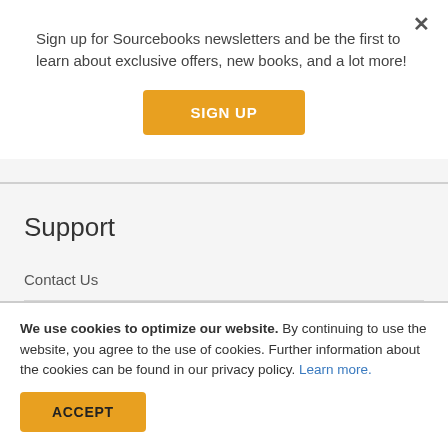Sign up for Sourcebooks newsletters and be the first to learn about exclusive offers, new books, and a lot more!
SIGN UP
Support
Contact Us
Customer Support
Technical Support
We use cookies to optimize our website. By continuing to use the website, you agree to the use of cookies. Further information about the cookies can be found in our privacy policy. Learn more.
ACCEPT